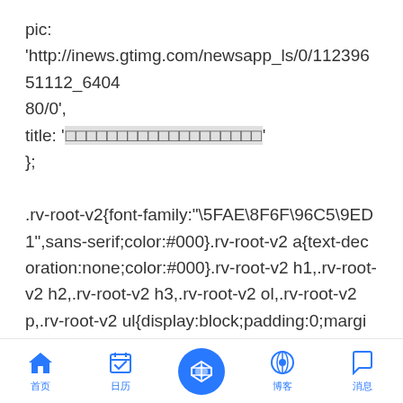pic:
'http://inews.gtimg.com/newsapp_ls/0/11239651112_640480/0',
title: '□□□□□□□□□□□□□□□□□□□'
};

.rv-root-v2{font-family:"\5FAE\8F6F\96C5\9ED1",sans-serif;color:#000}.rv-root-v2 a{text-decoration:none;color:#000}.rv-root-v2 h1,.rv-root-v2 h2,.rv-root-v2 h3,.rv-root-v2 ol,.rv-root-v2 p,.rv-root-v2 ul{display:block;padding:0;margin:0}.rv-root-v2 img{border:0}.rv-root-v2 .rv-cf:after,.rv-root-v2 .rv-cf:before{content:"        ";display:table}.rv-root-v2 .rv-cf:after{clear:both}.rv-root-v2 .rv-cf{*zoom:1}.rv-root-v2 .rv-top{height:40px;line-height:40px;background-
[Figure (other): Bottom navigation bar with 5 icons: home (house icon), calendar/checklist, diamond (center blue circle button), WordPress logo, and speech bubble. All icons are blue. Labels in Chinese characters below each icon.]